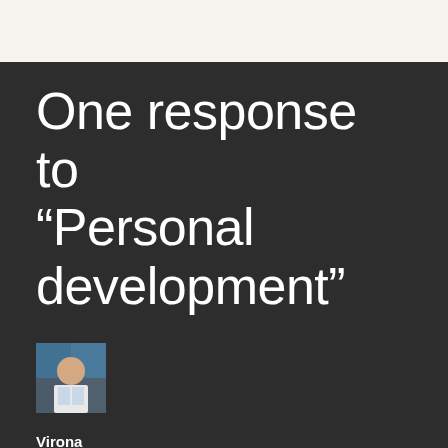One response to “Personal development”
[Figure (photo): Small square avatar photo of a person (Virona), appearing to be a young woman with a colorful background]
Virona
May 17, 2020
Love it!